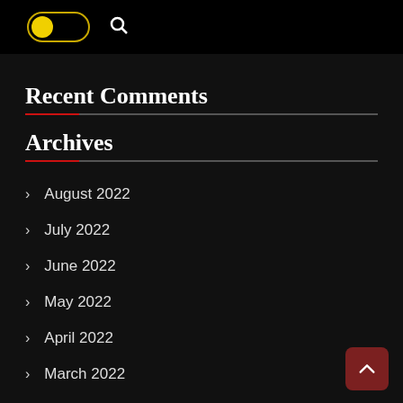[Toggle switch UI + Search icon]
Recent Comments
Archives
August 2022
July 2022
June 2022
May 2022
April 2022
March 2022
February 2022